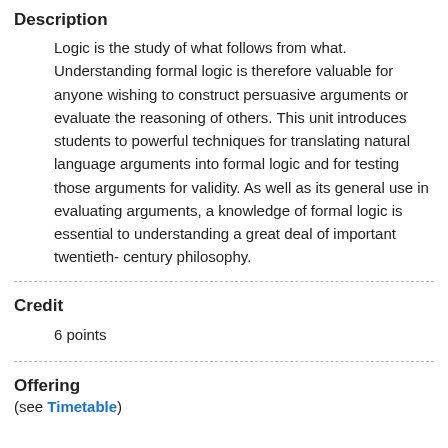Description
Logic is the study of what follows from what. Understanding formal logic is therefore valuable for anyone wishing to construct persuasive arguments or evaluate the reasoning of others. This unit introduces students to powerful techniques for translating natural language arguments into formal logic and for testing those arguments for validity. As well as its general use in evaluating arguments, a knowledge of formal logic is essential to understanding a great deal of important twentieth-century philosophy.
Credit
6 points
Offering
(see Timetable)